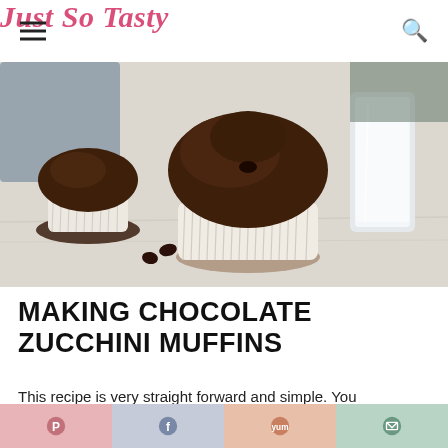Just So Tasty
[Figure (photo): A chocolate zucchini muffin in a paper liner on a marble surface, with chocolate chips nearby and a glass of milk in the background. Another muffin visible at left.]
MAKING CHOCOLATE ZUCCHINI MUFFINS
This recipe is very straight forward and simple. You
[Figure (infographic): Social sharing bar at the bottom with four buttons: Pinterest (pink), Facebook (light blue), Yummly (peach), and Email (sage green)]